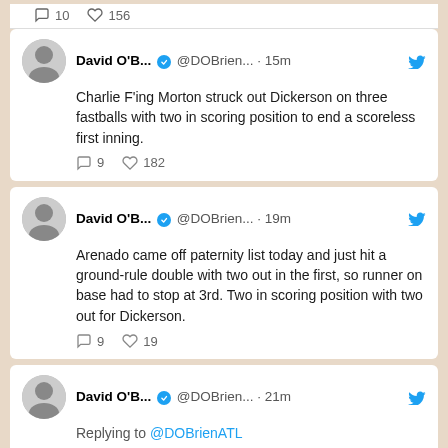10  156 (comment and heart counts)
David O'B... @DOBrien... · 15m  Charlie F'ing Morton struck out Dickerson on three fastballs with two in scoring position to end a scoreless first inning.  9  182
David O'B... @DOBrien... · 19m  Arenado came off paternity list today and just hit a ground-rule double with two out in the first, so runner on base had to stop at 3rd. Two in scoring position with two out for Dickerson.  9  19
David O'B... @DOBrien... · 21m  Replying to @DOBrienATL